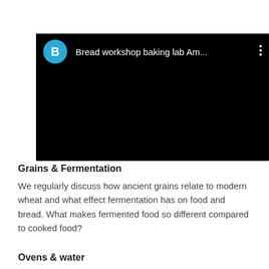[Figure (screenshot): Embedded video player with black background. Header shows a blue circle avatar with letter B, title 'Bread workshop baking lab Am...', and a three-dots menu icon on the right.]
Grains & Fermentation
We regularly discuss how ancient grains relate to modern wheat and what effect fermentation has on food and bread. What makes fermented food so different compared to cooked food?
Ovens & water